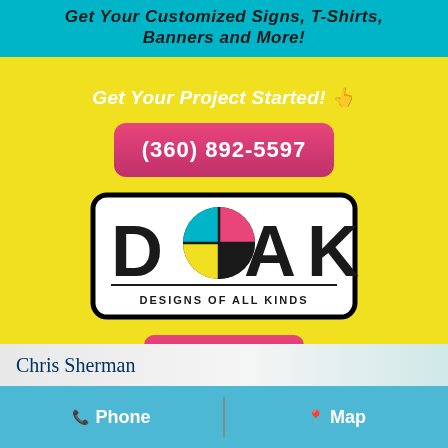Get Your Customized Signs, T-Shirts, Banners and More!
Get Your Project Started! 👆
(360) 892-5597
[Figure (logo): DOAK - Designs of All Kinds logo with CMYK color circle in the O]
Menu
Chris Sherman
📞 Phone   Map